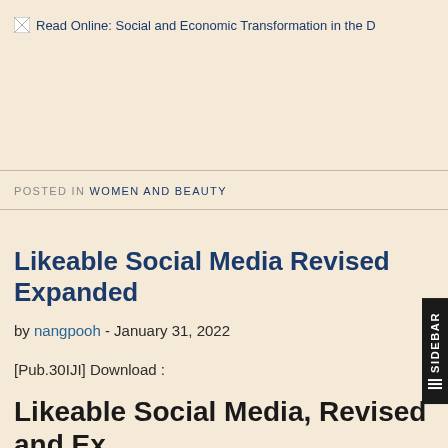[Figure (other): Broken image placeholder with text: Read Online: Social and Economic Transformation in the D]
POSTED IN WOMEN AND BEAUTY
Likeable Social Media Revised Expanded
by nangpooh - January 31, 2022
[Pub.30IJI] Download :
Likeable Social Media, Revised and Ex